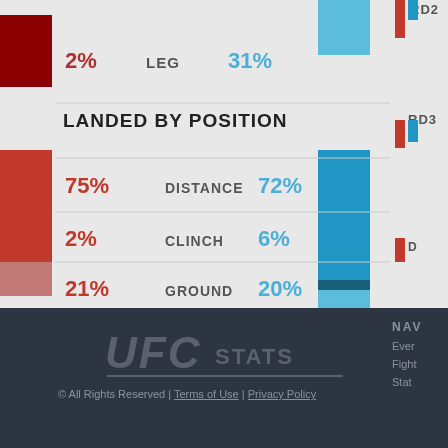[Figure (bar-chart): LEG]
LANDED BY POSITION
[Figure (stacked-bar-chart): LANDED BY POSITION]
UFC STATS © All Rights Reserved | Terms of Use | Privacy Policy